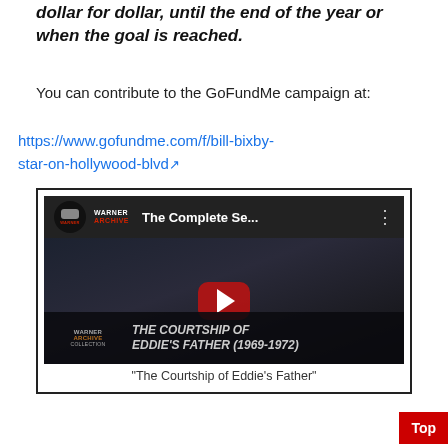dollar for dollar, until the end of the year or when the goal is reached.
You can contribute to the GoFundMe campaign at:
https://www.gofundme.com/f/bill-bixby-star-on-hollywood-blvd
[Figure (screenshot): YouTube video thumbnail for 'The Complete Se...' from Warner Archive, showing 'THE COURTSHIP OF EDDIE'S FATHER (1969-1972)' with a YouTube play button overlay]
"The Courtship of Eddie's Father"